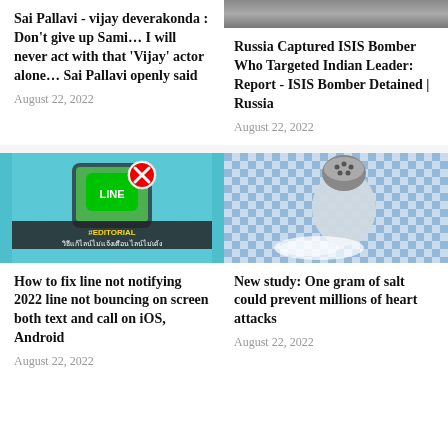Sai Pallavi - vijay deverakonda : Don't give up Sami… I will never act with that 'Vijay' actor alone… Sai Pallavi openly said
August 22, 2022
[Figure (photo): Partial image visible at top right]
Russia Captured ISIS Bomber Who Targeted Indian Leader: Report - ISIS Bomber Detained | Russia
August 22, 2022
[Figure (screenshot): Thai language article about fixing LINE app notifications, showing a smartphone with LINE app and a red X icon]
How to fix line not notifying 2022 line not bouncing on screen both text and call on iOS, Android
August 22, 2022
[Figure (photo): Salt shaker lying on its side on a blue and white checkered tablecloth with salt spilled out]
New study: One gram of salt could prevent millions of heart attacks
August 22, 2022